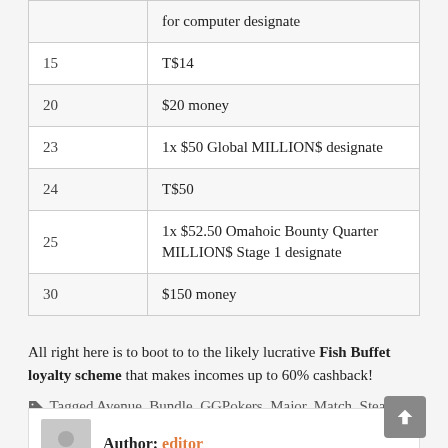|  |  |
| --- | --- |
|  | for computer designate |
| 15 | T$14 |
| 20 | $20 money |
| 23 | 1x $50 Global MILLION$ designate |
| 24 | T$50 |
| 25 | 1x $52.50 Omahoic Bounty Quarter MILLION$ Stage 1 designate |
| 30 | $150 money |
All right here is to boot to to the likely lucrative Fish Buffet loyalty scheme that makes incomes up to 60% cashback!
Tagged Avenue, Bundle, GGPokers, Major, Match, Steal, Vegas, WSOP
Author: editor